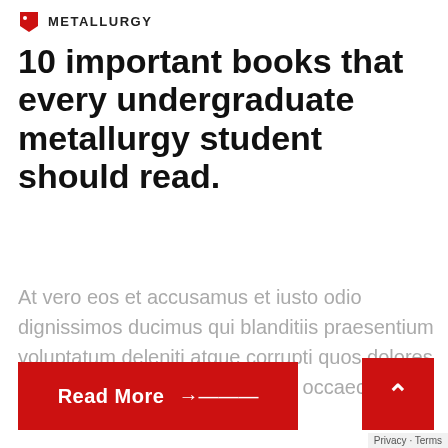METALLURGY
10 important books that every undergraduate metallurgy student should read.
At vero eos et accusamus et iusto odio dignissimos ducimus qui blanditiis praesentium voluptatum deleniti atque corrupti quos dolores et quas molestias excepturi sint occaecati cup
Read More →